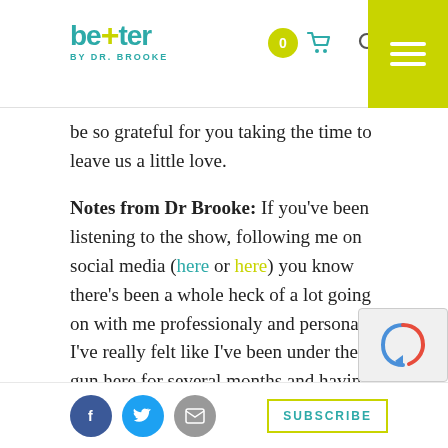better BY DR. BROOKE
be so grateful for you taking the time to leave us a little love.
Notes from Dr Brooke: If you’ve been listening to the show, following me on social media (here or here) you know there’s been a whole heck of a lot going on with me professionaly and personal. I’ve really felt like I’ve been under the gun here for several months and having had some effective tools has made all the difference. I honestly don’t know what kind of shambles my marriage would be in, my body owudl be in or my mental state would be in without them!
SUBSCRIBE